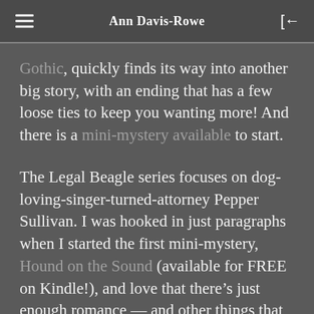Ann Davis-Rowe
Gothic, quickly finds its way into another big story, with an ending that has a few loose ties to keep you wanting more! And there is a mini-mystery available to start.
The Legal Beagle series focuses on dog-loving-singer-turned-attorney Pepper Sullivan. I was hooked in just paragraphs when I started the first mini-mystery, Hound on the Sound (available for FREE on Kindle!), and love that there’s just enough romance — and other things that go bump in the night. Now I can’t decide if I